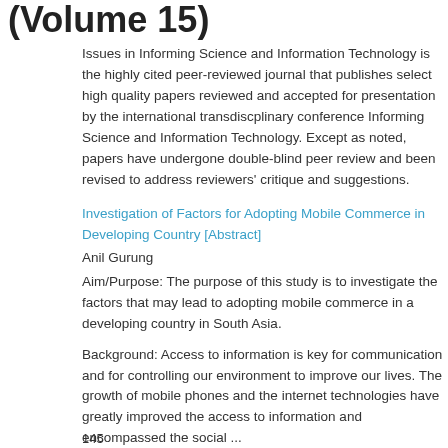(Volume 15)
Issues in Informing Science and Information Technology is the highly cited peer-reviewed journal that publishes select high quality papers reviewed and accepted for presentation by the international transdiscplinary conference Informing Science and Information Technology. Except as noted, papers have undergone double-blind peer review and been revised to address reviewers' critique and suggestions.
Investigation of Factors for Adopting Mobile Commerce in Developing Country [Abstract]
Anil Gurung
Aim/Purpose: The purpose of this study is to investigate the factors that may lead to adopting mobile commerce in a developing country in South Asia.
Background: Access to information is key for communication and for controlling our environment to improve our lives. The growth of mobile phones and the internet technologies have greatly improved the access to information and encompassed the social ...
mobile commerce, mobile banking
145